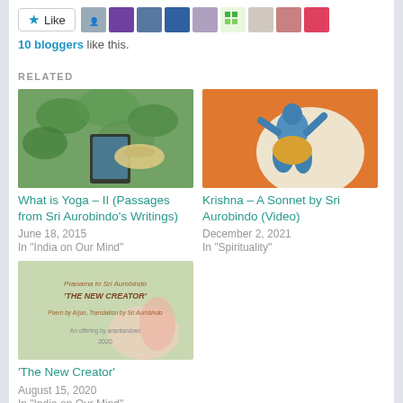[Figure (other): Like button with star icon and avatar strip of blogger profile photos]
10 bloggers like this.
RELATED
[Figure (photo): Person reading on tablet near water plants with hat]
What is Yoga – II (Passages from Sri Aurobindo's Writings)
June 18, 2015
In "India on Our Mind"
[Figure (photo): Indian classical painting of Krishna dancing on orange background]
Krishna – A Sonnet by Sri Aurobindo (Video)
December 2, 2021
In "Spirituality"
[Figure (photo): Book cover: Pranama to Sri Aurobindo 'The New Creator' with lotus flower background]
'The New Creator'
August 15, 2020
In "India on Our Mind"